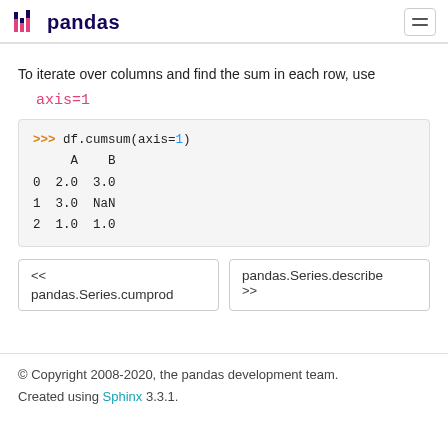pandas
To iterate over columns and find the sum in each row, use
axis=1
>>> df.cumsum(axis=1)
     A    B
0  2.0  3.0
1  3.0  NaN
2  1.0  1.0
<< pandas.Series.cumprod
pandas.Series.describe >>
© Copyright 2008-2020, the pandas development team. Created using Sphinx 3.3.1.